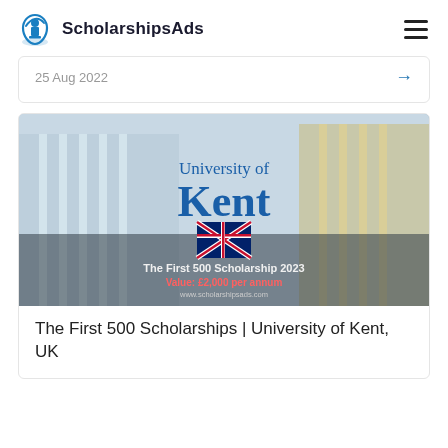ScholarshipsAds
25 Aug 2022
[Figure (photo): University of Kent building with The First 500 Scholarship 2023 promotional image. Shows modern glass building facade with blue University of Kent logo, UK flag, text 'The First 500 Scholarship 2023', 'Value: £2,000 per annum', 'www.scholarshipsads.com']
The First 500 Scholarships | University of Kent, UK